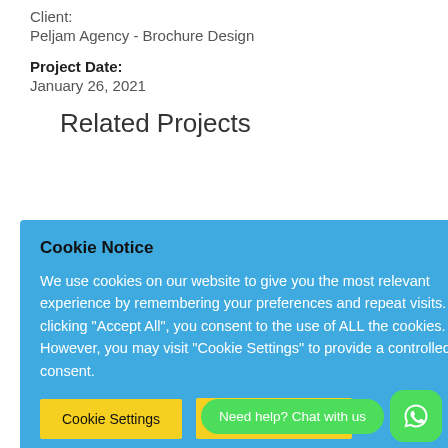Client:
Peljam Agency - Brochure Design
Project Date:
January 26, 2021
Related Projects
Cookie Notice
We use cookies on our website to give you the most relevant experience by remembering your preferences and repeat visits. By clicking "Accept All", you consent to the use of ALL the cookies. However, you may visit "Cookie Settings" to provide a controlled consent.
Cookie Settings   ACCEPT ALL
Need help? Chat with us